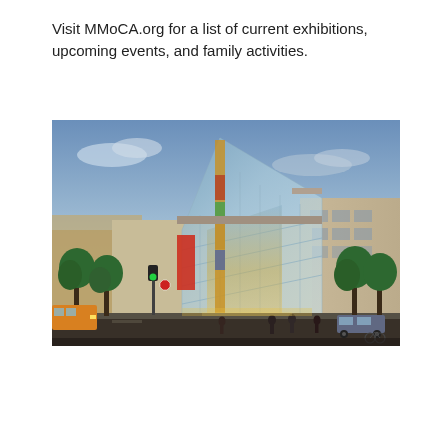Visit MMoCA.org for a list of current exhibitions, upcoming events, and family activities.
[Figure (photo): Exterior photograph of a modern museum building (MMoCA) at dusk, featuring a large glass corner facade with illuminated interior, green trees along the street, pedestrians, and a traffic light.]